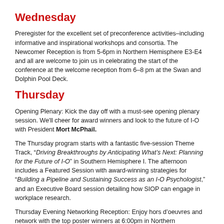Wednesday
Preregister for the excellent set of preconference activities–including informative and inspirational workshops and consortia. The Newcomer Reception is from 5-6pm in Northern Hemisphere E3-E4 and all are welcome to join us in celebrating the start of the conference at the welcome reception from 6–8 pm at the Swan and Dolphin Pool Deck.
Thursday
Opening Plenary: Kick the day off with a must-see opening plenary session. We'll cheer for award winners and look to the future of I-O with President Mort McPhail.
The Thursday program starts with a fantastic five-session Theme Track, "Driving Breakthroughs by Anticipating What's Next: Planning for the Future of I-O" in Southern Hemisphere I. The afternoon includes a Featured Session with award-winning strategies for "Building a Pipeline and Sustaining Success as an I-O Psychologist," and an Executive Board session detailing how SIOP can engage in workplace research.
Thursday Evening Networking Reception: Enjoy hors d'oeuvres and network with the top poster winners at 6:00pm in Northern Hemisphere CD.
Friday